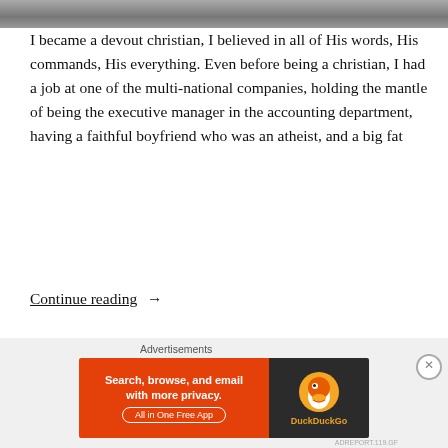[Figure (photo): Partial photo strip at the top of the page, showing a blurred grayscale image]
I became a devout christian, I believed in all of His words, His commands, His everything. Even before being a christian, I had a job at one of the multi-national companies, holding the mantle of being the executive manager in the accounting department, having a faithful boyfriend who was an atheist, and a big fat
Continue reading  →
By zeckrombryan  August 15, 2017  Hope, series
agape, God, grace, Hope, love, moments, moriah, saved, series, story, testimony, writing
9 Comments
Advertisements
[Figure (screenshot): DuckDuckGo advertisement banner: 'Search, browse, and email with more privacy. All in One Free App' with DuckDuckGo duck logo]